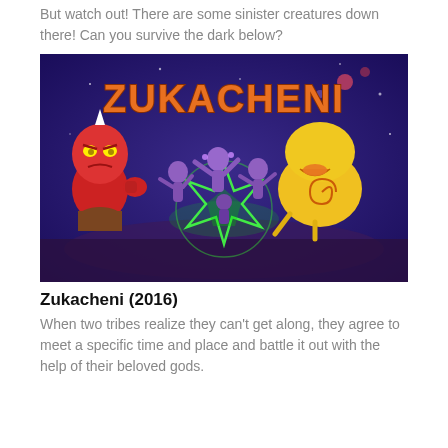But watch out! There are some sinister creatures down there! Can you survive the dark below?
[Figure (illustration): Animated cartoon image titled 'ZUKACHENI' showing colorful cartoon characters: a red devil-like creature on the left, purple alien figures in the center around a glowing green star pattern, and a yellow bug-like creature on the right, set against a dark purple/blue space background.]
Zukacheni (2016)
When two tribes realize they can't get along, they agree to meet a specific time and place and battle it out with the help of their beloved gods.